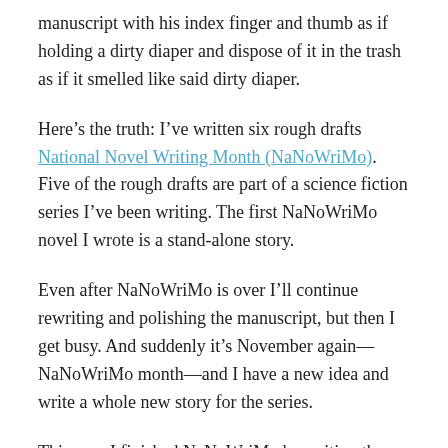manuscript with his index finger and thumb as if holding a dirty diaper and dispose of it in the trash as if it smelled like said dirty diaper.
Here's the truth: I've written six rough drafts National Novel Writing Month (NaNoWriMo). Five of the rough drafts are part of a science fiction series I've been writing. The first NaNoWriMo novel I wrote is a stand-alone story.
Even after NaNoWriMo is over I'll continue rewriting and polishing the manuscript, but then I get busy. And suddenly it's November again—NaNoWriMo month—and I have a new idea and write a whole new story for the series.
This year I finished NaNoWriMo by writing the minimum 50,000 words, but I still have several chapters to write to